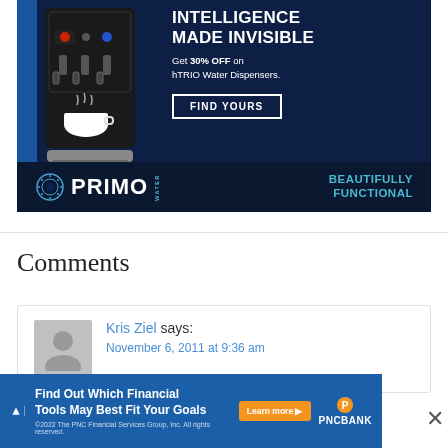[Figure (advertisement): Primo Water hTRIO Water Dispenser advertisement. Dark navy blue background with image of black water dispenser machine on left. Text: 'INTELLIGENCE MADE INVISIBLE', 'Get 30% OFF on hTRIO Water Dispensers.', 'FIND YOURS' button. Bottom bar with Primo Water logo and 'BEAUTIFULLY FUNCTIONAL' tagline.]
Comments
Kris Ziel says:
November 6, 2011 at 9:36 am
[Figure (advertisement): PNC Bank advertisement banner. Blue background. Text: 'Find Out Which Financial Tools May Best Fit Your Goals'. 'Learn more' orange button. PNC Bank logo. Copyright 2022 The PNC Financial Services Group, Inc. All rights reserved.]